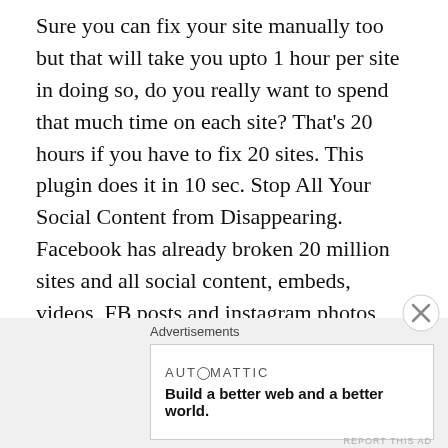Sure you can fix your site manually too but that will take you upto 1 hour per site in doing so, do you really want to spend that much time on each site? That's 20 hours if you have to fix 20 sites. This plugin does it in 10 sec. Stop All Your Social Content from Disappearing. Facebook has already broken 20 million sites and all social content, embeds, videos, FB posts and instagram photos from those sites have vanished, you need to stop this from happening on your site and fix it asap. Brings Back Unlimited Social Content, Videos & Images on all your WordPress Pages & Posts. Bring back all the content that has disappeared from your posts & pages. This plugin does it for your entire site in 1-Click without needing you to
Advertisements
[Figure (other): Advertisement banner from Automattic: 'Build a better web and a better world.' with a close button (X) overlay]